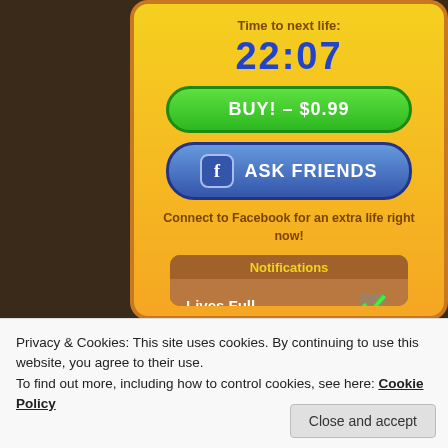[Figure (screenshot): Mobile game screenshot showing a 'Get More Lives' dialog with countdown timer 22:07, Buy button for $0.99, Ask Friends via Facebook button, Facebook connect prompt, and a Notifications panel showing 'Lives Full' with a green checkmark toggle.]
Time to next life:
22:07
BUY! – $0.99
ASK FRIENDS
Connect to Facebook for an extra life right now!
Notifications
Lives Full
Privacy & Cookies: This site uses cookies. By continuing to use this website, you agree to their use.
To find out more, including how to control cookies, see here: Cookie Policy
Close and accept